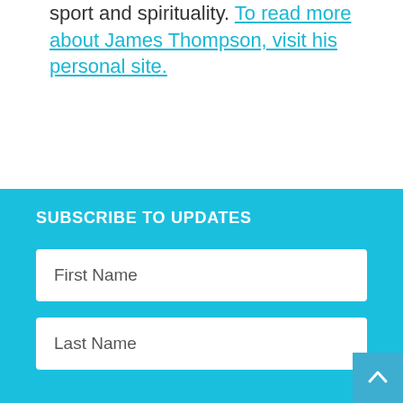sport and spirituality. To read more about James Thompson, visit his personal site.
SUBSCRIBE TO UPDATES
First Name
Last Name